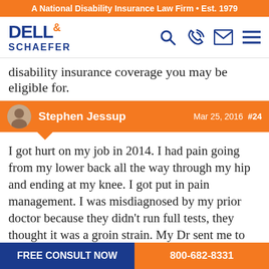A National Disability Insurance Law Firm • Est. 1979
[Figure (logo): Dell & Schaefer law firm logo with navigation icons]
disability insurance coverage you may be eligible for.
Stephen Jessup  Mar 25, 2016  #24
I got hurt on my job in 2014. I had pain going from my lower back all the way through my hip and ending at my knee. I got put in pain management. I was misdiagnosed by my prior doctor because they didn't run full tests, they thought it was a groin strain. My Dr sent me to pain management because he felt there was more going on they performed an emg on me. It turns out I have an L4 pinched nerve in my lumbar. My workers comp case is still going on but what else can I do or apply for ?. Do you think I
FREE CONSULT NOW  800-682-8331